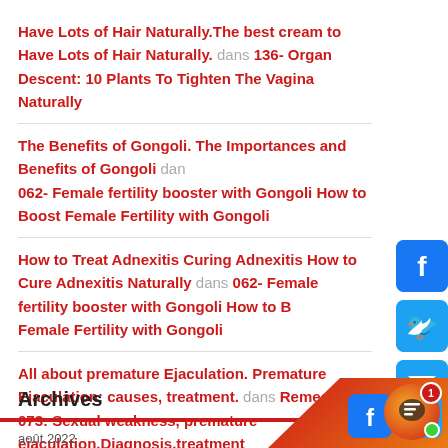Have Lots of Hair Naturally.The best cream to Have Lots of Hair Naturally. dans 136- Organ Descent: 10 Plants To Tighten The Vagina Naturally
The Benefits of Gongoli. The Importances and Benefits of Gongoli dans 062- Female fertility booster with Gongoli How to Boost Female Fertility with Gongoli
How to Treat Adnexitis Curing Adnexitis How to Cure Adnexitis Naturally dans 062- Female fertility booster with Gongoli How to Boost Female Fertility with Gongoli
All about premature Ejaculation. Premature Ejaculation: causes, treatment. dans Remedy 073: Sexual weakness, premature ejaculation,Diagnosis,treatment
Archives
août 2022